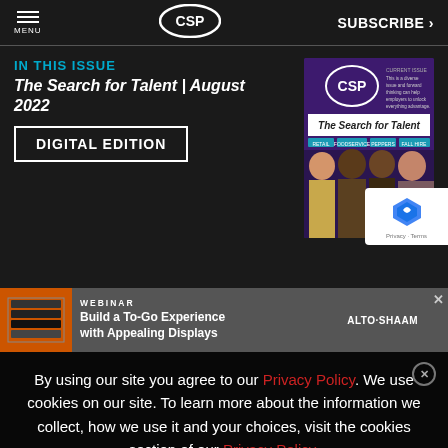MENU | CSP | SUBSCRIBE >
IN THIS ISSUE
The Search for Talent | August 2022
DIGITAL EDITION
[Figure (photo): CSP magazine cover featuring The Search for Talent August 2022 issue with four diverse professionals on purple background]
[Figure (photo): Alto-Shaam advertisement: WEBINAR - Build a To-Go Experience with Appealing Displays]
By using our site you agree to our Privacy Policy. We use cookies on our site. To learn more about the information we collect, how we use it and your choices, visit the cookies section of our Privacy Policy.